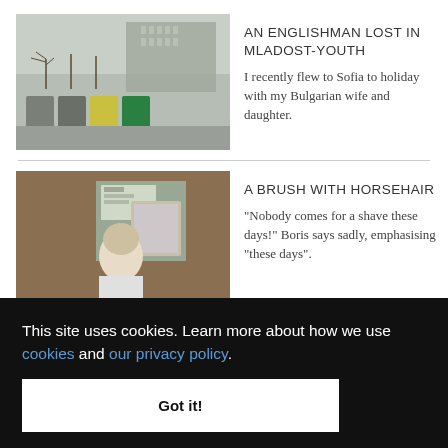[Figure (photo): Outdoor scene showing garbage bins and apartment blocks with bare trees in Sofia, Bulgaria]
AN ENGLISHMAN LOST IN MLADOST-YOUTH
I recently flew to Sofia to holiday with my Bulgarian wife and daughter.
[Figure (photo): Interior of a barber shop with a person sitting near a mirror]
A BRUSH WITH HORSEHAIR
"Nobody comes for a shave these days!" Boris says sadly, emphasising "these days".
[Figure (photo): Partial photo of a person, third article image]
...DE
s of hour to dig the foundations of the new
This site uses cookies. Learn more about how we use cookies and our privacy policy.
Got it!